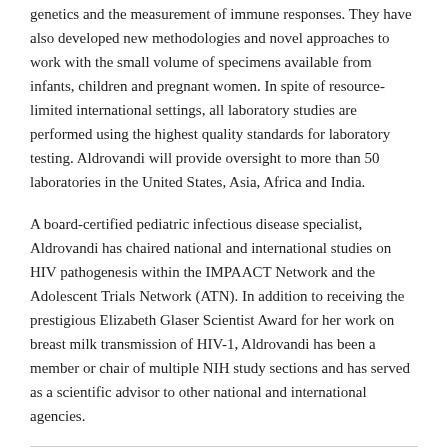genetics and the measurement of immune responses. They have also developed new methodologies and novel approaches to work with the small volume of specimens available from infants, children and pregnant women. In spite of resource-limited international settings, all laboratory studies are performed using the highest quality standards for laboratory testing. Aldrovandi will provide oversight to more than 50 laboratories in the United States, Asia, Africa and India.
A board-certified pediatric infectious disease specialist, Aldrovandi has chaired national and international studies on HIV pathogenesis within the IMPAACT Network and the Adolescent Trials Network (ATN). In addition to receiving the prestigious Elizabeth Glaser Scientist Award for her work on breast milk transmission of HIV-1, Aldrovandi has been a member or chair of multiple NIH study sections and has served as a scientific advisor to other national and international agencies.
March 28th, 2014  |  Announcements